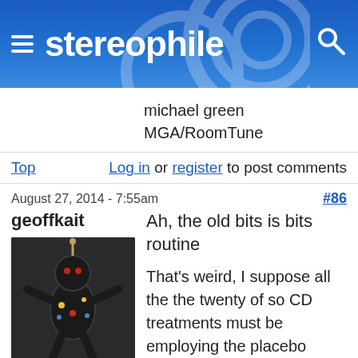stereophile
michael green MGA/RoomTune
Top   Log in or register to post comments
August 27, 2014 - 7:55am   #86
geoffkait
[Figure (photo): Avatar image of a voodoo doll figurine made of dark material with colorful decorations]
Offline
Last seen: 2
Ah, the old bits is bits routine
That's weird, I suppose all the the twenty of so CD treatments must be employing the placebo effect. Instead of guessing, for good reading on CD fluids and sprays, check out